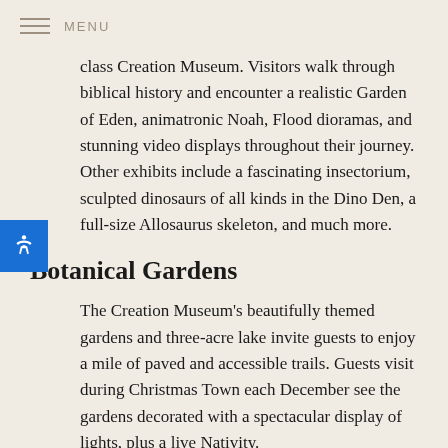MENU
class Creation Museum. Visitors walk through biblical history and encounter a realistic Garden of Eden, animatronic Noah, Flood dioramas, and stunning video displays throughout their journey. Other exhibits include a fascinating insectorium, sculpted dinosaurs of all kinds in the Dino Den, a full-size Allosaurus skeleton, and much more.
Botanical Gardens
The Creation Museum's beautifully themed gardens and three-acre lake invite guests to enjoy a mile of paved and accessible trails. Guests visit during Christmas Town each December see the gardens decorated with a spectacular display of lights, plus a live Nativity.